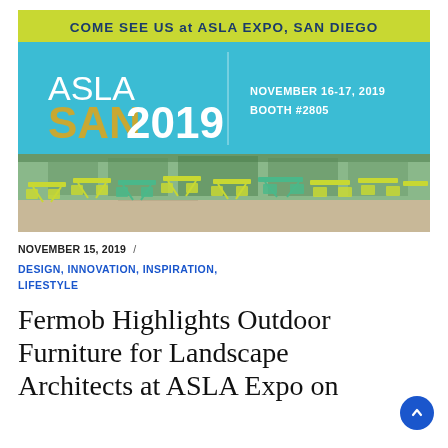[Figure (infographic): ASLA Expo San Diego promotional banner with teal/cyan background, yellow-green header bar reading 'COME SEE US at ASLA EXPO, SAN DIEGO', large white text 'ASLA SAN2019' with gold SAN, event details 'NOVEMBER 16-17, 2019 BOOTH #2805', and a photo of outdoor yellow-green Fermob furniture (chairs and tables) in an outdoor plaza.]
NOVEMBER 15, 2019  /
DESIGN, INNOVATION, INSPIRATION, LIFESTYLE
Fermob Highlights Outdoor Furniture for Landscape Architects at ASLA Expo on